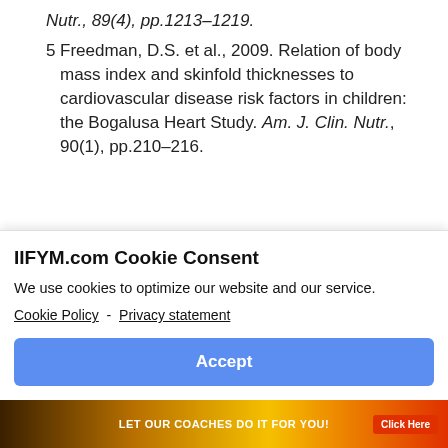Nutr., 89(4), pp.1213–1219.
5 Freedman, D.S. et al., 2009. Relation of body mass index and skinfold thicknesses to cardiovascular disease risk factors in children: the Bogalusa Heart Study. Am. J. Clin. Nutr., 90(1), pp.210–216.
IIFYM.com Cookie Consent
We use cookies to optimize our website and our service.
Cookie Policy  -  Privacy statement
Accept
[Figure (photo): Banner advertisement at bottom of page with text 'LET OUR COACHES DO IT FOR YOU!' and a 'Click Here' button, with a person image on the left.]